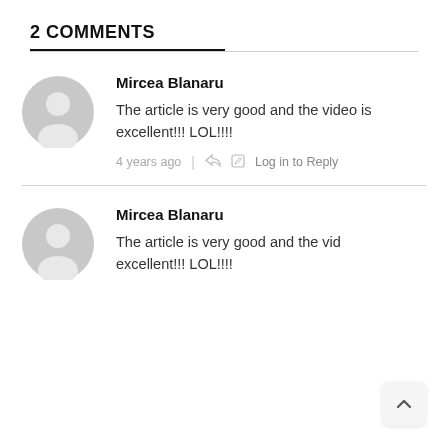2 COMMENTS
Mircea Blanaru
The article is very good and the video is excellent!!! LOL!!!!
4 years ago | Log in to Reply
Mircea Blanaru
The article is very good and the video is excellent!!! LOL!!!!